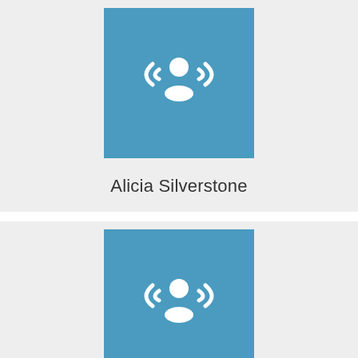[Figure (illustration): Blue square icon with a white person/broadcast symbol (person silhouette with radio waves on each side)]
Alicia Silverstone
[Figure (illustration): Blue square icon with a white person/broadcast symbol (person silhouette with radio waves on each side)]
Bente Furrebøe